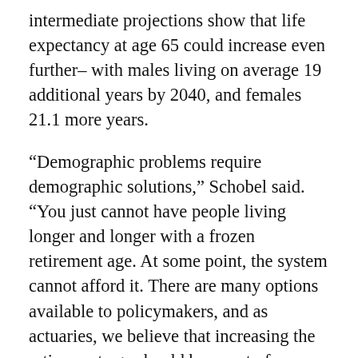intermediate projections show that life expectancy at age 65 could increase even further– with males living on average 19 additional years by 2040, and females 21.1 more years.
“Demographic problems require demographic solutions,” Schobel said. “You just cannot have people living longer and longer with a frozen retirement age. At some point, the system cannot afford it. There are many options available to policymakers, and as actuaries, we believe that increasing the retirement age should be a part of any solution.”